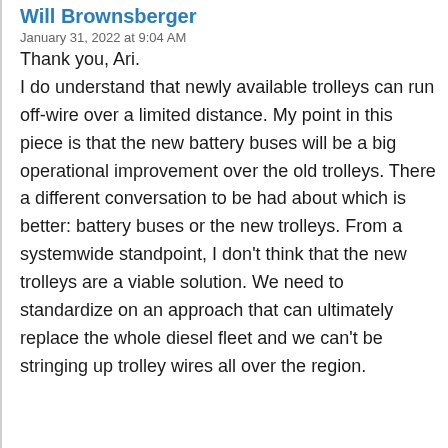Will Brownsberger
January 31, 2022 at 9:04 AM
Thank you, Ari.
I do understand that newly available trolleys can run off-wire over a limited distance. My point in this piece is that the new battery buses will be a big operational improvement over the old trolleys. There a different conversation to be had about which is better: battery buses or the new trolleys. From a systemwide standpoint, I don't think that the new trolleys are a viable solution. We need to standardize on an approach that can ultimately replace the whole diesel fleet and we can't be stringing up trolley wires all over the region.